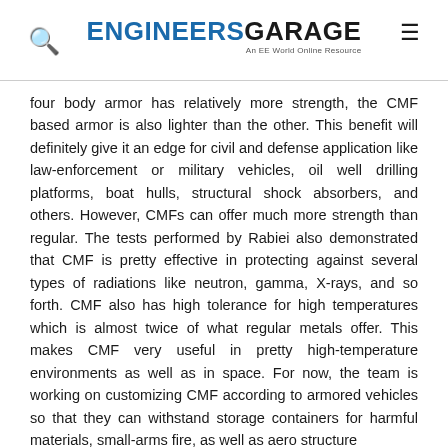ENGINEERS GARAGE — An EE World Online Resource
four body armor has relatively more strength, the CMF based armor is also lighter than the other. This benefit will definitely give it an edge for civil and defense application like law-enforcement or military vehicles, oil well drilling platforms, boat hulls, structural shock absorbers, and others. However, CMFs can offer much more strength than regular. The tests performed by Rabiei also demonstrated that CMF is pretty effective in protecting against several types of radiations like neutron, gamma, X-rays, and so forth. CMF also has high tolerance for high temperatures which is almost twice of what regular metals offer. This makes CMF very useful in pretty high-temperature environments as well as in space. For now, the team is working on customizing CMF according to armored vehicles so that they can withstand storage containers for harmful materials, small-arms fire, as well as aero structure